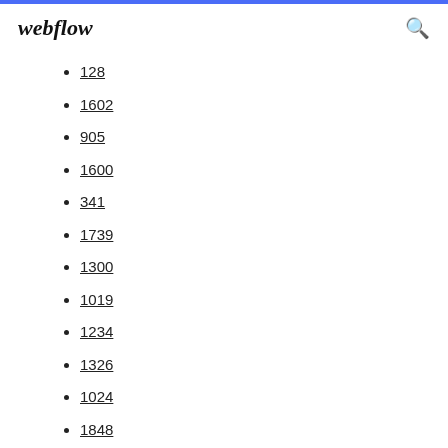webflow
128
1602
905
1600
341
1739
1300
1019
1234
1326
1024
1848